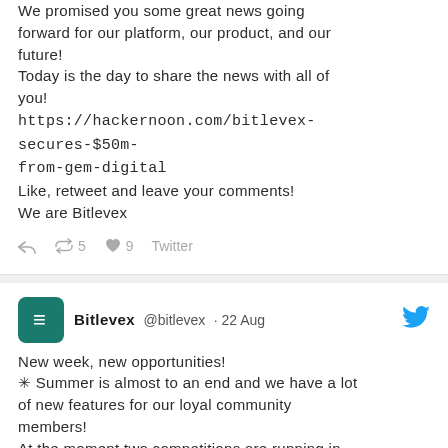We promised you some great news going forward for our platform, our product, and our future!
Today is the day to share the news with all of you!
https://hackernoon.com/bitlevex-secures-$50m-from-gem-digital
Like, retweet and leave your comments!
We are Bitlevex
↩ 🔁 5 ♥ 9 Twitter
Bitlevex @bitlevex · 22 Aug
New week, new opportunities!
✳ Summer is almost to an end and we have a lot of new features for our loyal community members!
At the moment two competitions are running in our platform and Social Media, don't miss them!
Have a great week from Bitlevex!
Future looks bright😊😊🌟 🖼
↩ 🔁 ♥ 5 Twitter